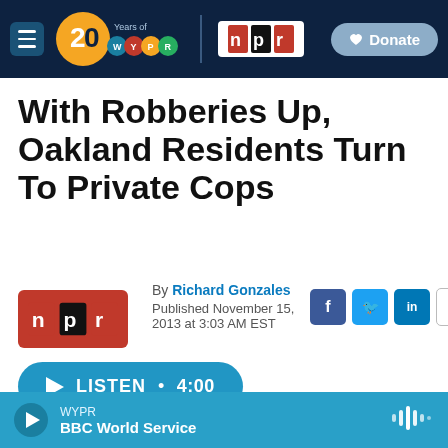[Figure (screenshot): WYPR 20 Years and NPR navigation bar with hamburger menu, 20 years of WYPR logo, NPR logo, and Donate button]
With Robberies Up, Oakland Residents Turn To Private Cops
By Richard Gonzales
Published November 15, 2013 at 3:03 AM EST
[Figure (logo): NPR logo (red background with n p r letters)]
[Figure (infographic): Social share icons: Facebook, Twitter, LinkedIn, Email]
[Figure (infographic): Listen button with play triangle, text LISTEN • 4:00]
[Figure (infographic): Bottom player bar with WYPR BBC World Service now playing]